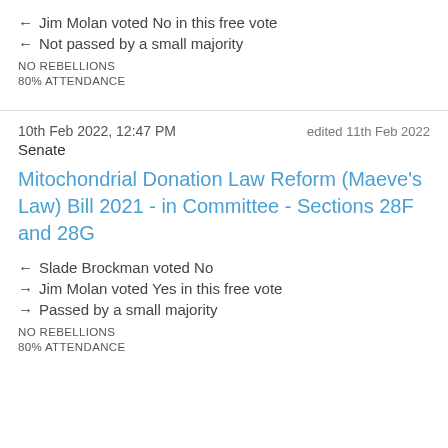← Jim Molan voted No in this free vote
← Not passed by a small majority
NO REBELLIONS
80% ATTENDANCE
10th Feb 2022, 12:47 PM    edited 11th Feb 2022
Senate
Mitochondrial Donation Law Reform (Maeve's Law) Bill 2021 - in Committee - Sections 28F and 28G
← Slade Brockman voted No
→ Jim Molan voted Yes in this free vote
→ Passed by a small majority
NO REBELLIONS
80% ATTENDANCE